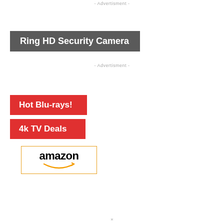- Advertisment -
Ring HD Security Camera
- Advertisment -
Hot Blu-rays!
4k TV Deals
[Figure (logo): Amazon logo with smile/arrow graphic inside a bordered box with orange top border]
×